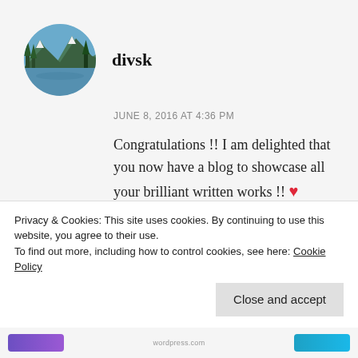[Figure (photo): Circular avatar photo of mountain landscape with lake and trees]
divsk
JUNE 8, 2016 AT 4:36 PM
Congratulations !! I am delighted that you now have a blog to showcase all your brilliant written works !! ❤ Looking forward to reading myriad sublime stories crafted by your magical pen 😘❤
Privacy & Cookies: This site uses cookies. By continuing to use this website, you agree to their use.
To find out more, including how to control cookies, see here: Cookie Policy
Close and accept